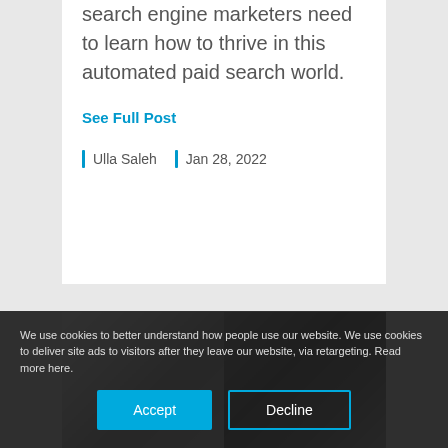search engine marketers need to learn how to thrive in this automated paid search world.
See Full Post
Ulla Saleh   Jan 28, 2022
[Figure (photo): Two side-by-side darkened photos: left shows a bright silhouette figure, right shows a dark office/workspace scene]
We use cookies to better understand how people use our website. We use cookies to deliver site ads to visitors after they leave our website, via retargeting. Read more here.